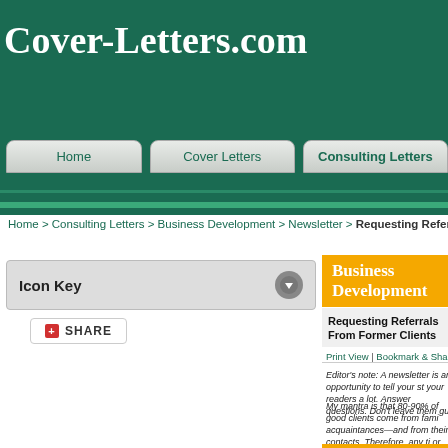Cover-Letters.com
Home | Cover Letters | Consulting Letters
Home > Consulting Letters > Business Development > Newsletter > Requesting Referrals From
Business Development
Icon Key
SHARE
Requesting Referrals From Former Clients
Print View | Bookmark & Share | Comment | Email | Back to List | << Pr
Editor's note: A newsletter is an opportunity to tell your st your readers a lot. Answer questions. Don't leave them gu
My mantra is that 80-90% of good clients come from fami acquaintances—and from their contacts. Therefore, any ti or product to introduce, I always return to my friends and Often, that's as far as I ever need to go. It's so simple, and